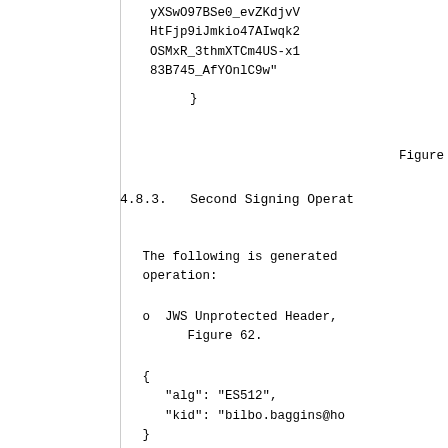yXSwO97BSe0_evZKdjvV
HtFjp9iJmkio47AIwqk2
OSMxR_3thmXTCm4US-x1
83B745_AfYOnlC9w"
}
Figure
4.8.3.   Second Signing Operat
The following is generated
   operation:
o  JWS Unprotected Header,
      Figure 62.
{
      "alg": "ES512",
      "kid": "bilbo.baggins@ho
   }